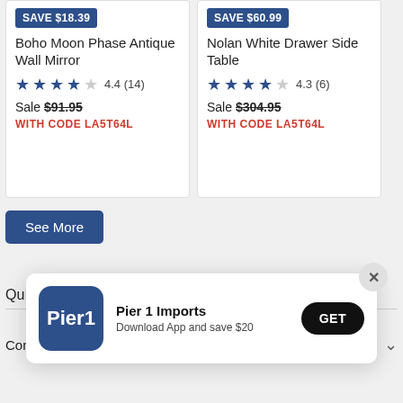SAVE $18.39
Boho Moon Phase Antique Wall Mirror
4.4 (14)
Sale $91.95
WITH CODE LA5T64L
SAVE $60.99
Nolan White Drawer Side Table
4.3 (6)
Sale $304.95
WITH CODE LA5T64L
See More
Quick Links
[Figure (screenshot): App install banner for Pier 1 Imports showing logo, title 'Pier 1 Imports', subtitle 'Download App and save $20', and a GET button]
Pier 1 Imports
Download App and save $20
GET
Contact Us